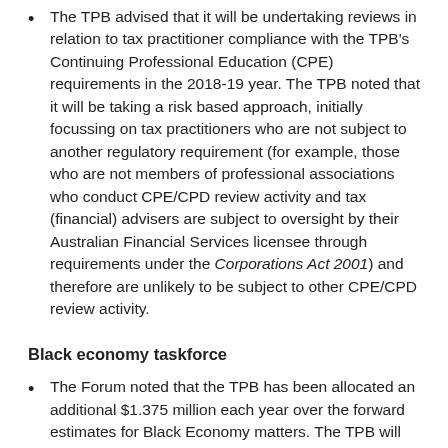The TPB advised that it will be undertaking reviews in relation to tax practitioner compliance with the TPB's Continuing Professional Education (CPE) requirements in the 2018-19 year. The TPB noted that it will be taking a risk based approach, initially focussing on tax practitioners who are not subject to another regulatory requirement (for example, those who are not members of professional associations who conduct CPE/CPD review activity and tax (financial) advisers are subject to oversight by their Australian Financial Services licensee through requirements under the Corporations Act 2001) and therefore are unlikely to be subject to other CPE/CPD review activity.
Black economy taskforce
The Forum noted that the TPB has been allocated an additional $1.375 million each year over the forward estimates for Black Economy matters. The TPB will